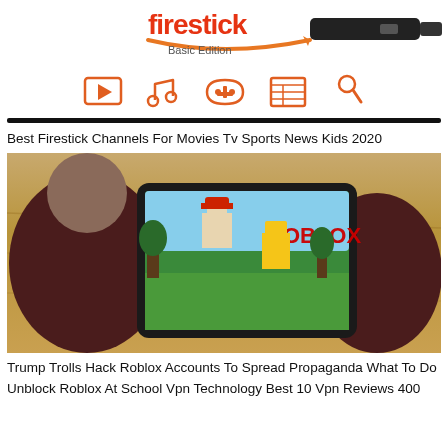[Figure (logo): FireStick Basic Edition logo with Amazon smile and a Fire TV Stick device image on the right]
[Figure (infographic): Row of five orange icons: video player, music note, game controller, newspaper, tennis racket]
Best Firestick Channels For Movies Tv Sports News Kids 2020
[Figure (photo): Person holding a tablet displaying the Roblox game, sitting at a wooden table]
Trump Trolls Hack Roblox Accounts To Spread Propaganda What To Do
Unblock Roblox At School Vpn Technology Best 10 Vpn Reviews 400